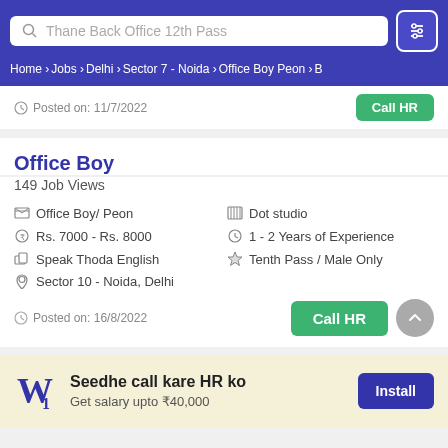Thane Back Office 12th Pass
Home › Jobs › Delhi › Sector 7 - Noida › Office Boy Peon › B
Posted on: 11/7/2022
Office Boy
149 Job Views
Office Boy/ Peon | Dot studio | Rs. 7000 - Rs. 8000 | 1 - 2 Years of Experience | Speak Thoda English | Tenth Pass / Male Only | Sector 10 - Noida, Delhi
Posted on: 16/8/2022
Seedhe call kare HR ko
Get salary upto ₹40,000